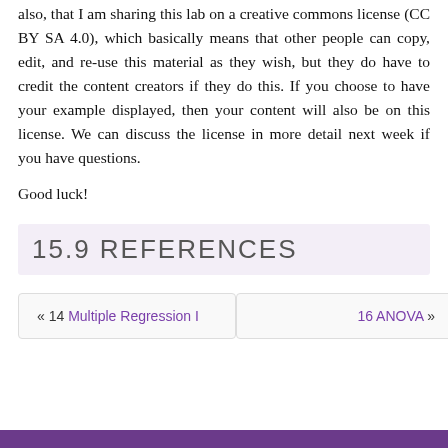also, that I am sharing this lab on a creative commons license (CC BY SA 4.0), which basically means that other people can copy, edit, and re-use this material as they wish, but they do have to credit the content creators if they do this. If you choose to have your example displayed, then your content will also be on this license. We can discuss the license in more detail next week if you have questions.
Good luck!
15.9 REFERENCES
« 14 Multiple Regression I
16 ANOVA »